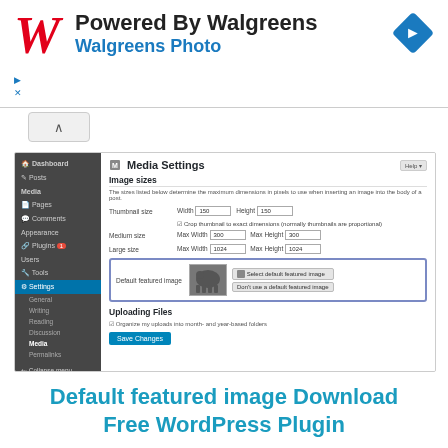[Figure (screenshot): Walgreens Photo advertisement banner with red italic W logo, 'Powered By Walgreens' title, 'Walgreens Photo' subtitle in blue, and a blue diamond arrow icon]
[Figure (screenshot): WordPress Media Settings admin page screenshot showing Image sizes section with thumbnail, medium, and large size settings, Default featured image with elephant photo, and Uploading Files section]
Default featured image Download Free WordPress Plugin